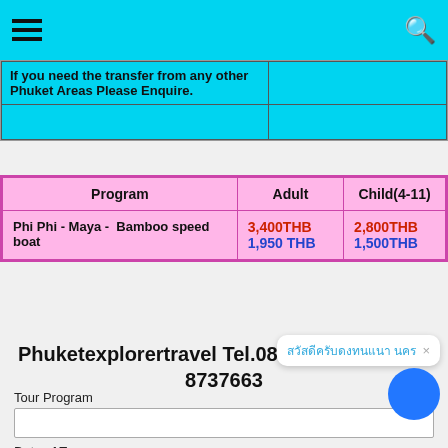Navigation bar with hamburger menu and search icon
If you need the transfer from any other Phuket Areas Please Enquire.
| Program | Adult | Child(4-11) |
| --- | --- | --- |
| Phi Phi - Maya -  Bamboo speed boat | 3,400THB
1,950 THB | 2,800THB
1,500THB |
Phuketexplorertravel Tel.083-5562242 , 089-8737663
Tour Booking
Tour Program
Date of Tour
Hotel Name